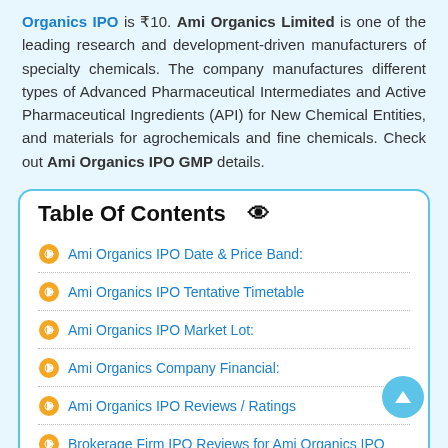Organics IPO is ₹10. Ami Organics Limited is one of the leading research and development-driven manufacturers of specialty chemicals. The company manufactures different types of Advanced Pharmaceutical Intermediates and Active Pharmaceutical Ingredients (API) for New Chemical Entities, and materials for agrochemicals and fine chemicals. Check out Ami Organics IPO GMP details.
Table Of Contents
Ami Organics IPO Date & Price Band:
Ami Organics IPO Tentative Timetable
Ami Organics IPO Market Lot:
Ami Organics Company Financial:
Ami Organics IPO Reviews / Ratings
Brokerage Firm IPO Reviews for Ami Organics IPO